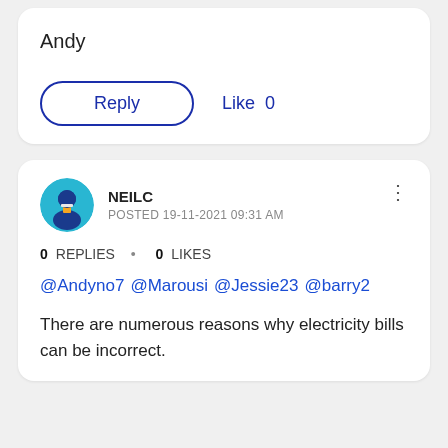Andy
Reply   Like 0
NEILC
POSTED 19-11-2021 09:31 AM
0 REPLIES • 0 LIKES
@Andyno7 @Marousi @Jessie23 @barry2
There are numerous reasons why electricity bills can be incorrect.